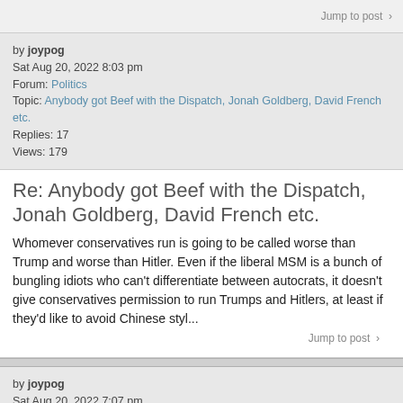Jump to post >
by joypog
Sat Aug 20, 2022 8:03 pm
Forum: Politics
Topic: Anybody got Beef with the Dispatch, Jonah Goldberg, David French etc.
Replies: 17
Views: 179
Re: Anybody got Beef with the Dispatch, Jonah Goldberg, David French etc.
Whomever conservatives run is going to be called worse than Trump and worse than Hitler. Even if the liberal MSM is a bunch of bungling idiots who can't differentiate between autocrats, it doesn't give conservatives permission to run Trumps and Hitlers, at least if they'd like to avoid Chinese styl...
Jump to post >
by joypog
Sat Aug 20, 2022 7:07 pm
Forum: Politics
Topic: Anybody got Beef with the Dispatch, Jonah Goldberg, David French etc.
Replies: 17
Views: 179
Re: Anybody got Beef with the Dispatch, Jonah Goldberg,